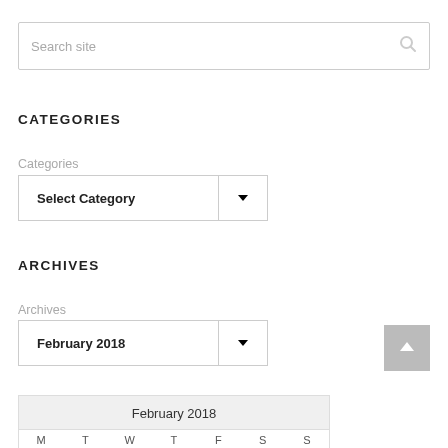Search site
CATEGORIES
Categories
Select Category
ARCHIVES
Archives
February 2018
| February 2018 |
| --- |
| M | T | W | T | F | S | S |